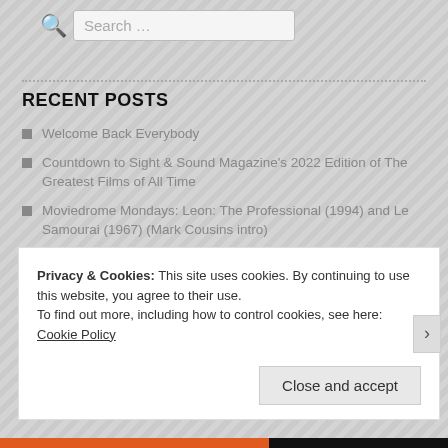Search …
RECENT POSTS
Welcome Back Everybody
Countdown to Sight & Sound Magazine's 2022 Edition of The Greatest Films of All Time
Moviedrome Mondays: Leon: The Professional (1994) and Le Samourai (1967) (Mark Cousins intro)
Moviedrome Mondays: Carrie (1976) (Mark Cousins intro)
Moviedrome Mondays: Thunderbolt and Lightfoot (1974) (Mark Cousins intro)
Privacy & Cookies: This site uses cookies. By continuing to use this website, you agree to their use. To find out more, including how to control cookies, see here: Cookie Policy
Close and accept